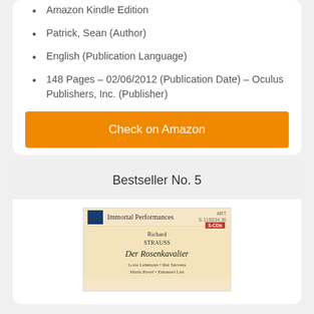Amazon Kindle Edition
Patrick, Sean (Author)
English (Publication Language)
148 Pages – 02/06/2012 (Publication Date) – Oculus Publishers, Inc. (Publisher)
Check on Amazon
Bestseller No. 5
[Figure (photo): Book cover for Richard Strauss Der Rosenkavalier, showing Immortal Performances label with blue logo, tan/cream colored background, DECCA badge, and artist names]